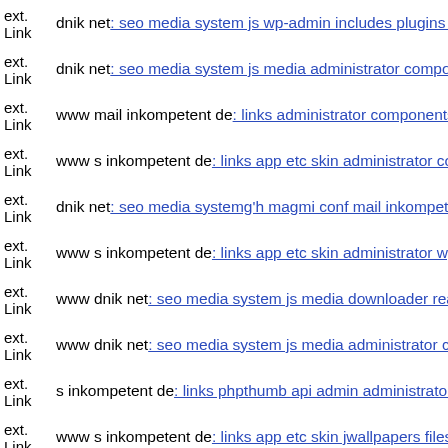ext. Link dnik net: seo media system js wp-admin includes plugins conte...
ext. Link dnik net: seo media system js media administrator components...
ext. Link www mail inkompetent de: links administrator components co...
ext. Link www s inkompetent de: links app etc skin administrator compo...
ext. Link dnik net: seo media systemg'h magmi conf mail inkompetent d...
ext. Link www s inkompetent de: links app etc skin administrator wp-co...
ext. Link www dnik net: seo media system js media downloader readme...
ext. Link www dnik net: seo media system js media administrator compo...
ext. Link s inkompetent de: links phpthumb api admin administrator wp-...
ext. Link www s inkompetent de: links app etc skin jwallpapers files plu...
ext. Link dnik org: index login components git dnik net